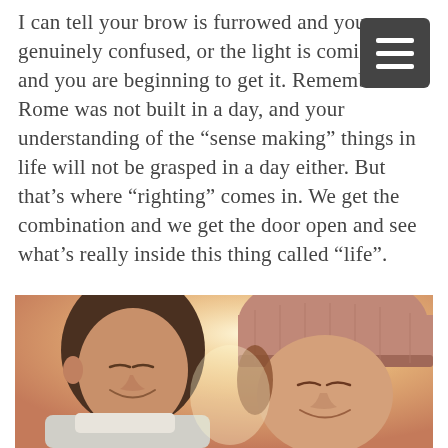I can tell your brow is furrowed and you are genuinely confused, or the light is coming on and you are beginning to get it. Remember that Rome was not built in a day, and your understanding of the “sense making” things in life will not be grasped in a day either. But that’s where “righting” comes in. We get the combination and we get the door open and see what’s really inside this thing called “life”.
[Figure (photo): A couple facing each other closely, smiling, about to kiss. The man is on the left wearing a light-colored scarf; the woman on the right is wearing a pink/mauve knit hat. Warm, bright light in the background.]